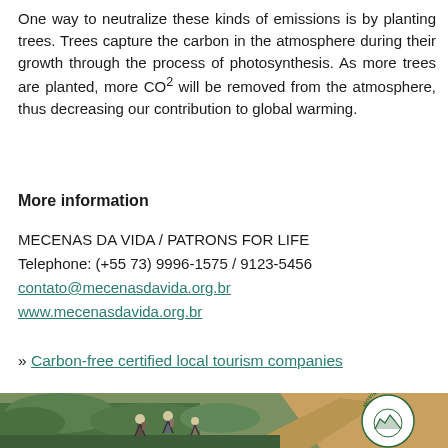One way to neutralize these kinds of emissions is by planting trees. Trees capture the carbon in the atmosphere during their growth through the process of photosynthesis. As more trees are planted, more CO² will be removed from the atmosphere, thus decreasing our contribution to global warming.
More information
MECENAS DA VIDA / PATRONS FOR LIFE
Telephone: (+55 73) 9996-1575 / 9123-5456
contato@mecenasdavida.org.br
www.mecenasdavida.org.br
» Carbon-free certified local tourism companies
[Figure (photo): Photo of hikers walking on a trail through green vegetation with a dirt path, and a circular logo with 'MOVIMENTO' text and an illustration of a globe with mountains visible in the upper right.]